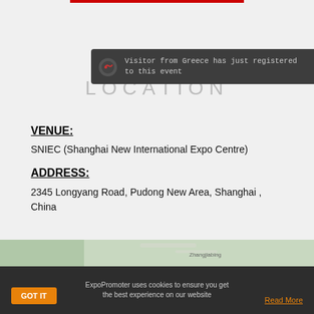[Figure (screenshot): Dark notification popup with icon, text 'Visitor from Greece has just registered to this event', and X close button]
LOCATION
VENUE:
SNIEC (Shanghai New International Expo Centre)
ADDRESS:
2345 Longyang Road, Pudong New Area, Shanghai , China
[Figure (map): Partial map view showing Zhangjiabing area]
ExpoPromoter uses cookies to ensure you get the best experience on our website
GOT IT
Read More